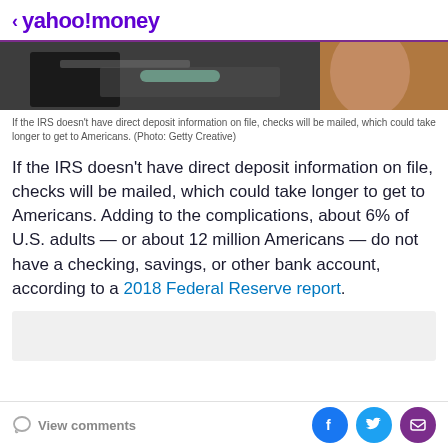< yahoo!money
[Figure (photo): Close-up photo of a hand holding what appears to be a card or check, dark background on left, skin tones on right]
If the IRS doesn't have direct deposit information on file, checks will be mailed, which could take longer to get to Americans. (Photo: Getty Creative)
If the IRS doesn't have direct deposit information on file, checks will be mailed, which could take longer to get to Americans. Adding to the complications, about 6% of U.S. adults — or about 12 million Americans — do not have a checking, savings, or other bank account, according to a 2018 Federal Reserve report.
View comments